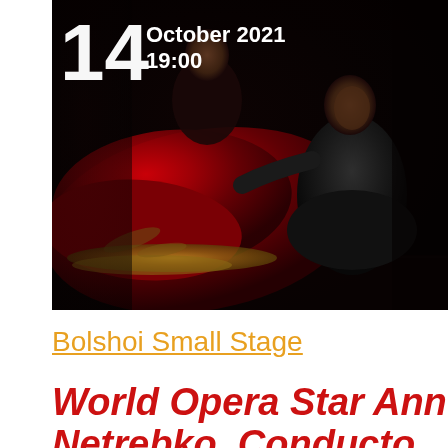[Figure (photo): Opera performance photo showing two performers on a dark stage. One figure in an elaborate red and gold costume with a large flowing red cape is on the left, and another figure in a dark/black costume is kneeling on the right. A date overlay shows '14 October 2021 19:00' in white text in the upper portion of the image.]
Bolshoi Small Stage
World Opera Star Ann... Netrebko. Conducto...